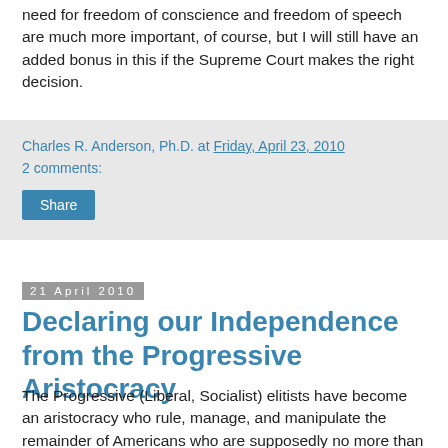need for freedom of conscience and freedom of speech are much more important, of course, but I will still have an added bonus in this if the Supreme Court makes the right decision.
Charles R. Anderson, Ph.D. at Friday, April 23, 2010
2 comments:
Share
21 April 2010
Declaring our Independence from the Progressive Aristocracy
The Progressive (Liberal, Socialist) elitists have become an aristocracy who rule, manage, and manipulate the remainder of Americans who are supposedly no more than organic bits of various special interest groups or factions.
The Progressives have long insisted that man's nature could evolve rapidly with proper indoctrination in the government-